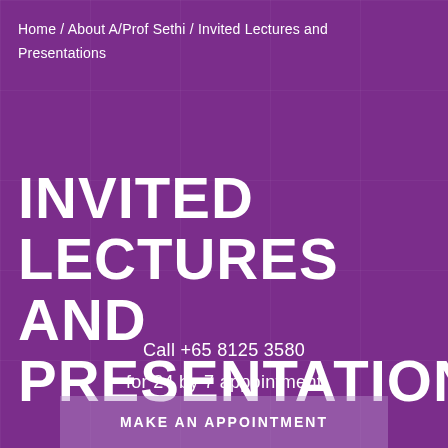Home / About A/Prof Sethi / Invited Lectures and Presentations
INVITED LECTURES AND PRESENTATIONS
Call +65 8125 3580
for 24 by 7 appointment
MAKE AN APPOINTMENT